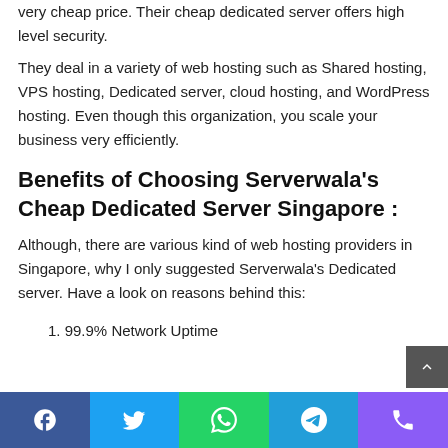very cheap price. Their cheap dedicated server offers high level security.
They deal in a variety of web hosting such as Shared hosting, VPS hosting, Dedicated server, cloud hosting, and WordPress hosting. Even though this organization, you scale your business very efficiently.
Benefits of Choosing Serverwala’s Cheap Dedicated Server Singapore :
Although, there are various kind of web hosting providers in Singapore, why I only suggested Serverwala's Dedicated server. Have a look on reasons behind this:
1. 99.9% Network Uptime
Social share bar: Facebook, Twitter, WhatsApp, Telegram, Viber